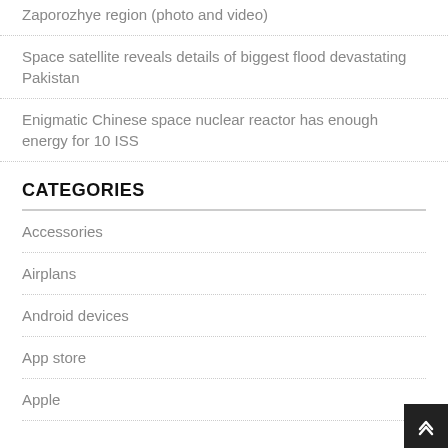Zaporozhye region (photo and video)
Space satellite reveals details of biggest flood devastating Pakistan
Enigmatic Chinese space nuclear reactor has enough energy for 10 ISS
CATEGORIES
Accessories
Airplans
Android devices
App store
Apple